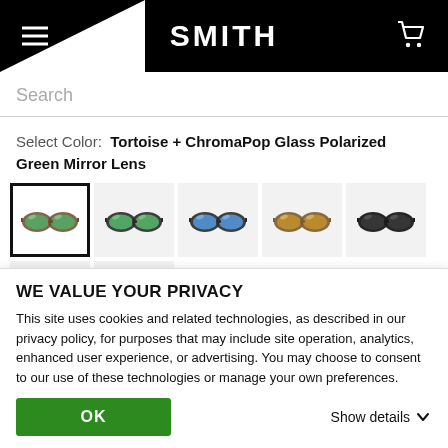SMITH (logo header with menu and cart icons)
Search
Select Color:  Tortoise + ChromaPop Glass Polarized Green Mirror Lens
[Figure (photo): Grid of 7 sunglasses color swatches. Row 1: green mirror (selected, bordered), green mirror dark frame, blue mirror, brown lens, dark/black lens. Row 2: brown lens dark frame, green lens dark frame.]
WE VALUE YOUR PRIVACY
This site uses cookies and related technologies, as described in our privacy policy, for purposes that may include site operation, analytics, enhanced user experience, or advertising. You may choose to consent to our use of these technologies or manage your own preferences.
OK
Show details